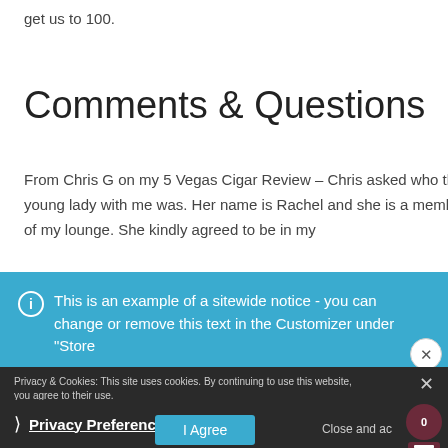get us to 100.
Comments & Questions
From Chris G on my 5 Vegas Cigar Review – Chris asked who the young lady with me was. Her name is Rachel and she is a member of my lounge. She kindly agreed to be in my
This is an example of a sitewide notice - you can change or remove this text in the Customizer under "Store
Privacy & Cookies: This site uses cookies. By continuing to use this website, you agree to their use. To find out more, including how to control cookies, see here: Cookie
Privacy Preferences
I Agree
Close and ac